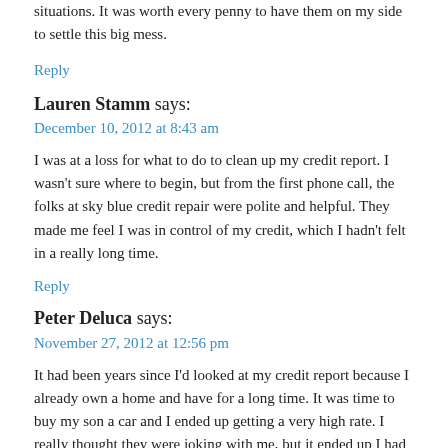situations. It was worth every penny to have them on my side to settle this big mess.
Reply
Lauren Stamm says:
December 10, 2012 at 8:43 am
I was at a loss for what to do to clean up my credit report. I wasn't sure where to begin, but from the first phone call, the folks at sky blue credit repair were polite and helpful. They made me feel I was in control of my credit, which I hadn't felt in a really long time.
Reply
Peter Deluca says:
November 27, 2012 at 12:56 pm
It had been years since I'd looked at my credit report because I already own a home and have for a long time. It was time to buy my son a car and I ended up getting a very high rate. I really thought they were joking with me, but it ended up I had a lot of things wrong on my credit report. I don't think people pay enough attention to their credit report and Sky blue credit is a